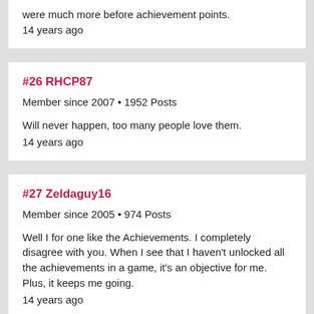were much more before achievement points.
14 years ago
#26 RHCP87
Member since 2007 • 1952 Posts
Will never happen, too many people love them.
14 years ago
#27 Zeldaguy16
Member since 2005 • 974 Posts
Well I for one like the Achievements. I completely disagree with you. When I see that I haven't unlocked all the achievements in a game, it's an objective for me. Plus, it keeps me going.
14 years ago
#28 Demousage50